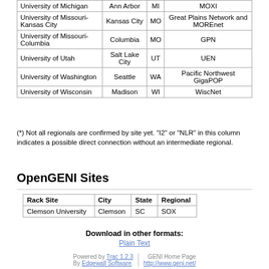| Rack Site | City | State | Regional |
| --- | --- | --- | --- |
| University of Michigan | Ann Arbor | MI | MOXI |
| University of Missouri-Kansas City | Kansas City | MO | Great Plains Network and MOREnet |
| University of Missouri-Columbia | Columbia | MO | GPN |
| University of Utah | Salt Lake City | UT | UEN |
| University of Washington | Seattle | WA | Pacific Northwest GigaPOP |
| University of Wisconsin | Madison | WI | WiscNet |
(*) Not all regionals are confirmed by site yet. "I2" or "NLR" in this column indicates a possible direct connection without an intermediate regional.
OpenGENI Sites
| Rack Site | City | State | Regional |
| --- | --- | --- | --- |
| Clemson University | Clemson | SC | SOX |
Download in other formats: Plain Text
Powered by Trac 1.2.3 By Edgewall Software. | GENI Home Page http://www.geni.net/